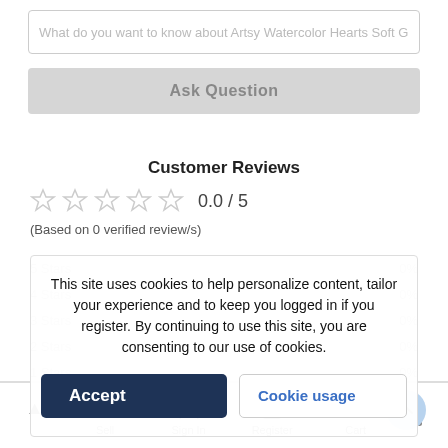What do you want to know about Artsy Watercolor Hearts Soft Graphic
Ask Question
Customer Reviews
0.0 / 5
(Based on 0 verified review/s)
| Rating | Percentage |
| --- | --- |
| 5 Stars | 0% |
| 4 Stars | 0% |
| 3 Stars | 0% |
| 2 Stars | 0% |
| 1 Stars | 0% |
This site uses cookies to help personalize content, tailor your experience and to keep you logged in if you register. By continuing to use this site, you are consenting to our use of cookies.
Accept
Cookie usage
Sell   Sign In   Register   Cart